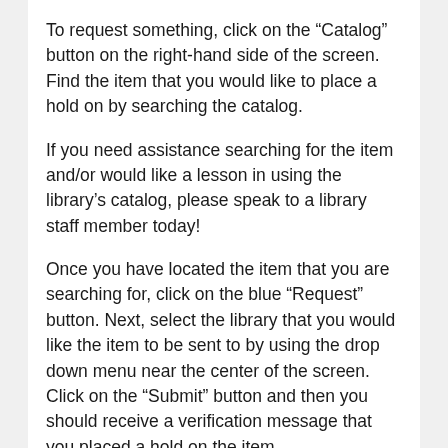To request something, click on the “Catalog” button on the right-hand side of the screen. Find the item that you would like to place a hold on by searching the catalog.
If you need assistance searching for the item and/or would like a lesson in using the library’s catalog, please speak to a library staff member today!
Once you have located the item that you are searching for, click on the blue “Request” button. Next, select the library that you would like the item to be sent to by using the drop down menu near the center of the screen. Click on the “Submit” button and then you should receive a verification message that you placed a hold on the item.
When you are finished managing your account,